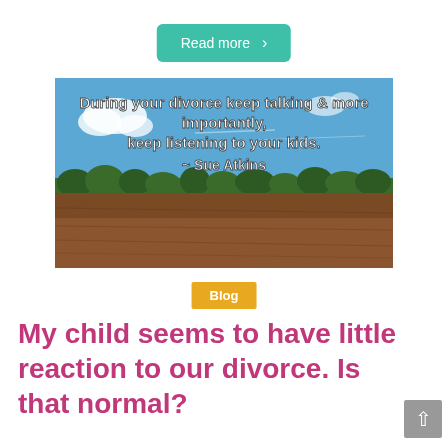Read more >
[Figure (photo): Landscape photo of a plowed brown field under a blue sky with trees on the horizon, overlaid with white text quote: 'During your divorce keep talking & more importantly, keep listening to your kids. ~ Sue Atkins']
Blog
My child seems to have little reaction to our divorce. Is that normal?